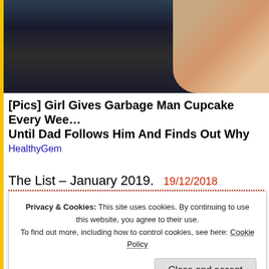[Figure (photo): Photo of a child and adult outdoors, dark background with a child visible on the right side]
[Pics] Girl Gives Garbage Man Cupcake Every Week Until Dad Follows Him And Finds Out Why
HealthyGem
The List – January 2019.    19/12/2018
Posted by Matt Rowson in Thoughts about things.
1 comment so far
Here we are again.  Don't know about you, but I hold even the players that we we linked with but never signed in a sort of reverent awe which is probably unreasona
Privacy & Cookies: This site uses cookies. By continuing to use this website, you agree to their use.
To find out more, including how to control cookies, see here: Cookie Policy
Close and accept